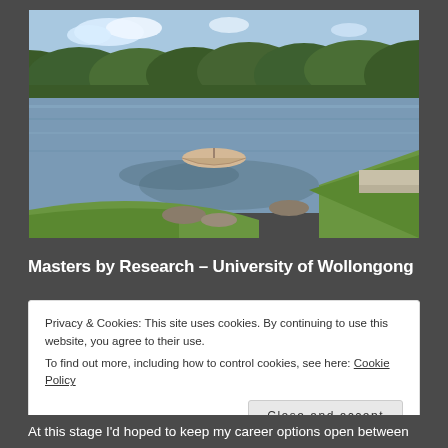[Figure (photo): A scenic photo of a calm river or lake with a small rowboat floating on blue-grey water, surrounded by green trees and bushland in the background, with a grassy bank and rocky shoreline in the foreground.]
Masters by Research – University of Wollongong
Privacy & Cookies: This site uses cookies. By continuing to use this website, you agree to their use.
To find out more, including how to control cookies, see here: Cookie Policy
[Close and accept button]
At this stage I'd hoped to keep my career options open between